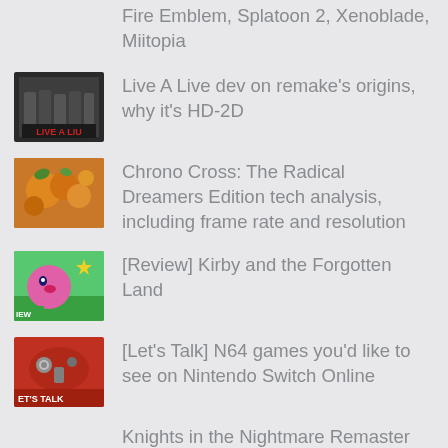Fire Emblem, Splatoon 2, Xenoblade, Miitopia
Live A Live dev on remake's origins, why it's HD-2D
Chrono Cross: The Radical Dreamers Edition tech analysis, including frame rate and resolution
[Review] Kirby and the Forgotten Land
[Let's Talk] N64 games you'd like to see on Nintendo Switch Online
Knights in the Nightmare Remaster Switch gameplay
Nintendo's past with direct sequels, and how Zelda: Breath of the Wild 2 fits into